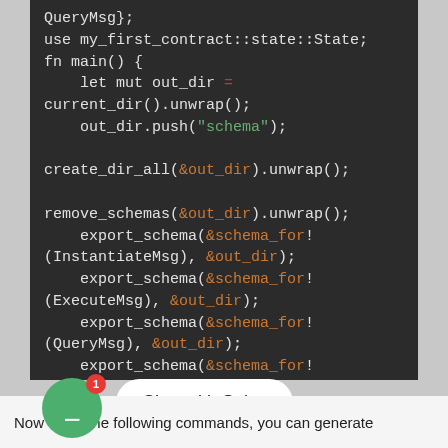[Figure (screenshot): Dark-themed code editor screenshot showing Rust code with use statements, fn main(), and export_schema macro calls with colored syntax highlighting]
Now using the following commands, you can generate